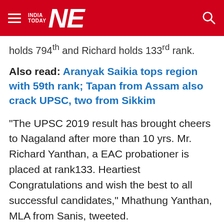India Today NE
holds 794th and Richard holds 133rd rank.
Also read: Aranyak Saikia tops region with 59th rank; Tapan from Assam also crack UPSC, two from Sikkim
“The UPSC 2019 result has brought cheers to Nagaland after more than 10 yrs. Mr. Richard Yanthan, a EAC probationer is placed at rank133. Heartiest Congratulations and wish the best to all successful candidates,” Mhathung Yanthan, MLA from Sanis, tweeted.